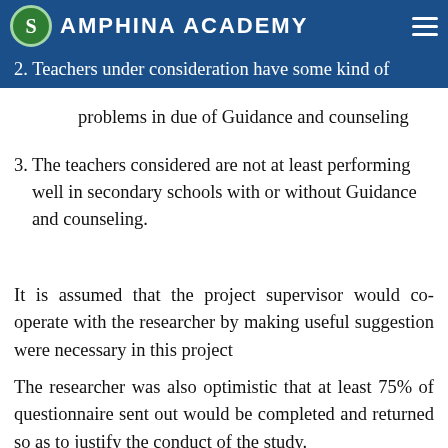AMPHINA ACADEMY
2. Teachers under consideration have some kind of problems in due of Guidance and counseling
3. The teachers considered are not at least performing well in secondary schools with or without Guidance and counseling.
It is assumed that the project supervisor would co-operate with the researcher by making useful suggestion were necessary in this project
The researcher was also optimistic that at least 75% of questionnaire sent out would be completed and returned so as to justify the conduct of the study.